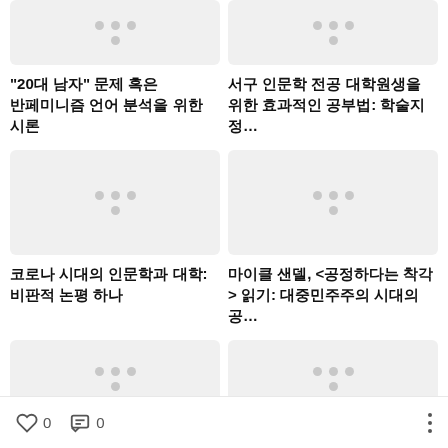[Figure (illustration): Thumbnail placeholder with loading dots indicator (top-left, partially cropped)]
[Figure (illustration): Thumbnail placeholder with loading dots indicator (top-right, partially cropped)]
"20대 남자" 문제 혹은 반페미니즘 언어 분석을 위한 시론
서구 인문학 전공 대학원생을 위한 효과적인 공부법: 학술지 정…
[Figure (illustration): Thumbnail placeholder with loading dots indicator (middle-left)]
[Figure (illustration): Thumbnail placeholder with loading dots indicator (middle-right)]
코로나 시대의 인문학과 대학: 비판적 논평 하나
마이클 샌델, <공정하다는 착각> 읽기: 대중민주주의 시대의 공…
[Figure (illustration): Thumbnail placeholder with loading dots indicator (bottom-left, partially cropped)]
[Figure (illustration): Thumbnail placeholder with loading dots indicator (bottom-right, partially cropped)]
0  0